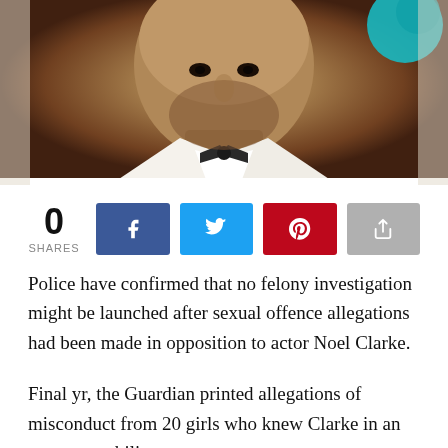[Figure (photo): Headshot of a man in a white suit jacket and black bow tie, cropped at chest level, with a teal/blue background element visible at top right.]
0
SHARES
Police have confirmed that no felony investigation might be launched after sexual offence allegations had been made in opposition to actor Noel Clarke.
Final yr, the Guardian printed allegations of misconduct from 20 girls who knew Clarke in an expert capability.
In a press release on the time, Clarke mentioned